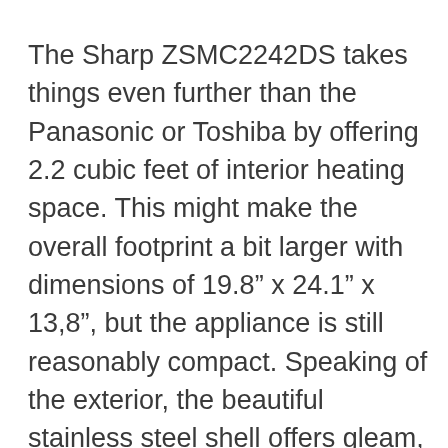The Sharp ZSMC2242DS takes things even further than the Panasonic or Toshiba by offering 2.2 cubic feet of interior heating space. This might make the overall footprint a bit larger with dimensions of 19.8" x 24.1" x 13,8", but the appliance is still reasonably compact. Speaking of the exterior, the beautiful stainless steel shell offers gleam, shine, and durability that cannot be matched. A great addition to any countertop!